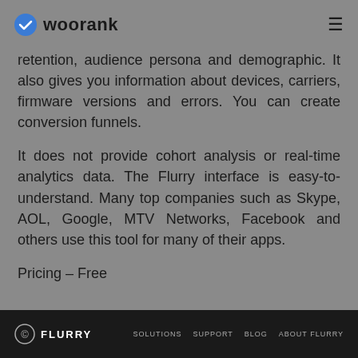woorank
retention, audience persona and demographic. It also gives you information about devices, carriers, firmware versions and errors. You can create conversion funnels.
It does not provide cohort analysis or real-time analytics data. The Flurry interface is easy-to-understand. Many top companies such as Skype, AOL, Google, MTV Networks, Facebook and others use this tool for many of their apps.
Pricing – Free
FLURRY  SOLUTIONS  SUPPORT  BLOG  ABOUT FLURRY